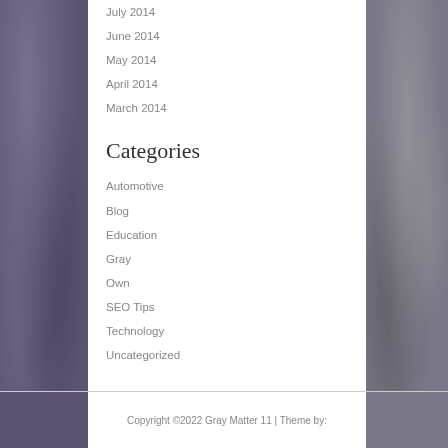July 2014
June 2014
May 2014
April 2014
March 2014
Categories
Automotive
Blog
Education
Gray
Own
SEO Tips
Technology
Uncategorized
Copyright ©2022 Gray Matter 11 | Theme by: